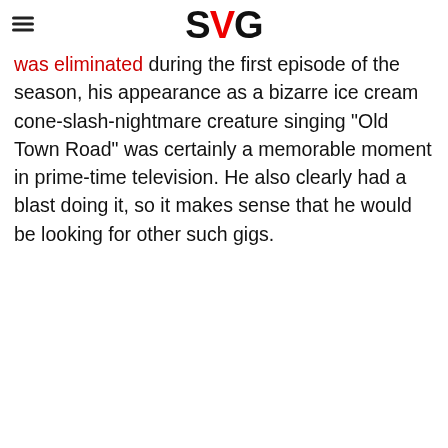SVG
was eliminated during the first episode of the season, his appearance as a bizarre ice cream cone-slash-nightmare creature singing "Old Town Road" was certainly a memorable moment in prime-time television. He also clearly had a blast doing it, so it makes sense that he would be looking for other such gigs.